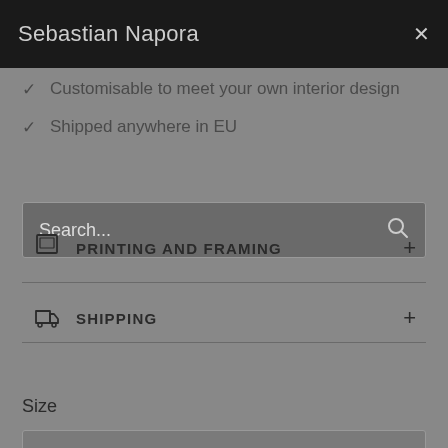Sebastian Napora
Customisable to meet your own interior design
Shipped anywhere in EU
Search...
PRINTING AND FRAMING
SHIPPING
Size
Choose an option